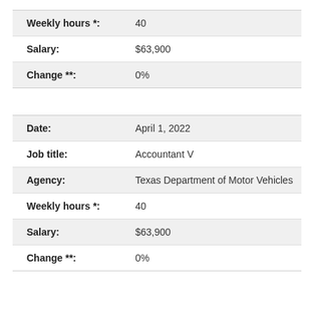| Weekly hours *: | 40 |
| Salary: | $63,900 |
| Change **: | 0% |
| Date: | April 1, 2022 |
| Job title: | Accountant V |
| Agency: | Texas Department of Motor Vehicles |
| Weekly hours *: | 40 |
| Salary: | $63,900 |
| Change **: | 0% |